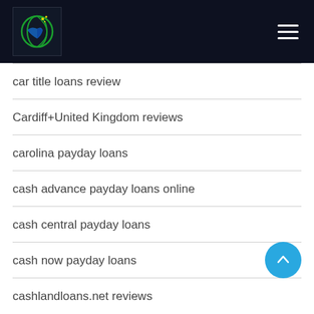Site header with logo and navigation menu
car title loans review
Cardiff+United Kingdom reviews
carolina payday loans
cash advance payday loans online
cash central payday loans
cash now payday loans
cashlandloans.net reviews